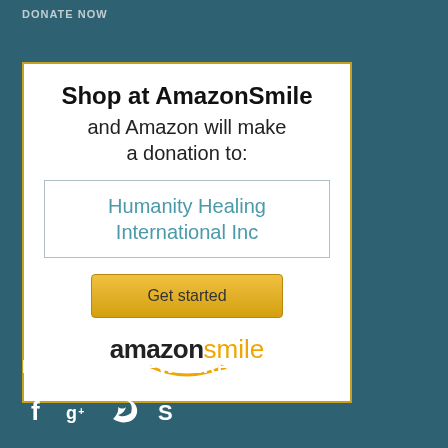DONATE NOW
[Figure (infographic): AmazonSmile promotional widget with white background and gold border. Contains bold title 'Shop at AmazonSmile', subtitle 'and Amazon will make a donation to:', a box with 'Humanity Healing International Inc' in teal text, a gold 'Get started' button, and the amazonsmile logo with orange arrow/smile.]
FIND US ELSEWHERE
[Figure (infographic): Social media icons row: Facebook (f), Google+ (g+), Twitter (bird), Skype (S) — all white on dark teal background.]